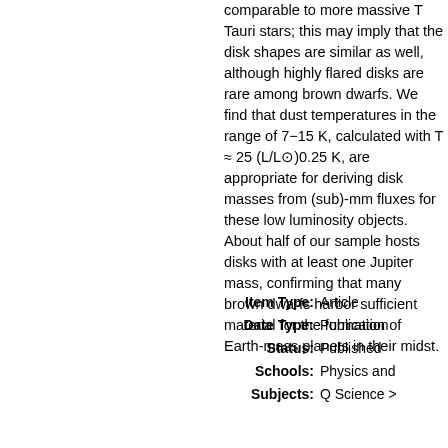comparable to more massive T Tauri stars; this may imply that the disk shapes are similar as well, although highly flared disks are rare among brown dwarfs. We find that dust temperatures in the range of 7−15 K, calculated with T ≈ 25 (L/L⊙)0.25 K, are appropriate for deriving disk masses from (sub)-mm fluxes for these low luminosity objects. About half of our sample hosts disks with at least one Jupiter mass, confirming that many brown dwarfs harbor sufficient material for the formation of Earth-mass planets in their midst.
Item Type:  Article
Date Type:  Publication
Status:  Published
Schools:  Physics and
Subjects:  Q Science >